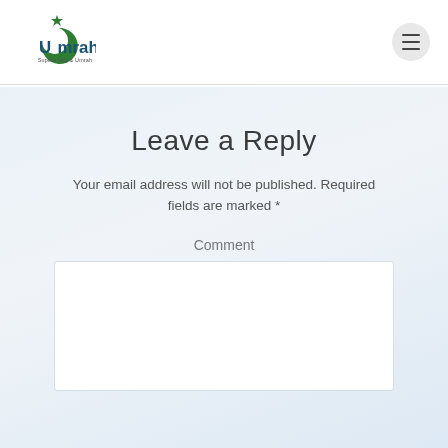[Figure (logo): Umrah logo with green crescent and star, text reading 'Umrah Superb Hajj & Umrah']
Leave a Reply
Your email address will not be published. Required fields are marked *
Comment